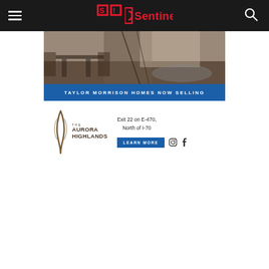Sentinel
[Figure (photo): Interior home photo showing dining area and staircase with dark wood flooring]
[Figure (infographic): Taylor Morrison Homes Now Selling advertisement for The Aurora Highlands community. Text: Exit 22 on E-470, North of I-70. Learn More button. Instagram and Facebook icons.]